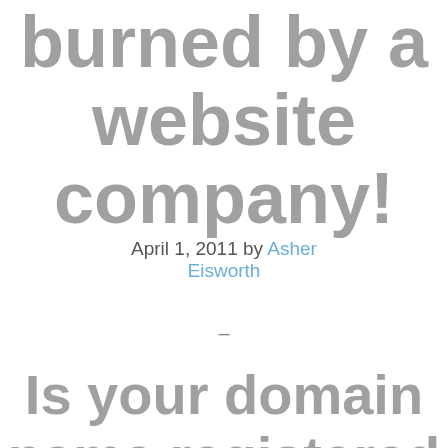Don't get burned by a website company!
April 1, 2011 by Asher Eisworth
–
Is your domain name registered